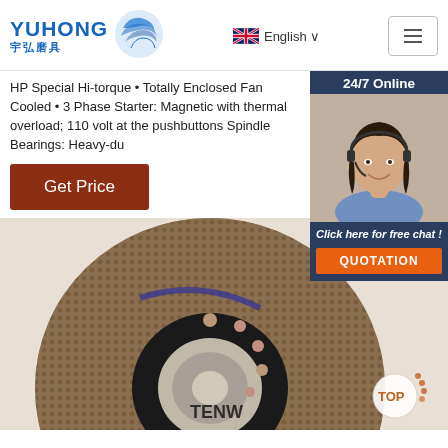YUHONG 宇弘磨具 | English | Menu
HP Special Hi-torque • Totally Enclosed Fan Cooled • 3 Phase Starter: Magnetic with thermal overload; 110 volt at the pushbuttons Spindle Bearings: Heavy-du
Get Price
[Figure (photo): Customer support agent (woman with headset) in a 24/7 Online chat widget overlay on the right side, with QUOTATION button]
[Figure (photo): TENW branded abrasive grinding/cutting disc product photo, large circular disc with textured surface and center hub]